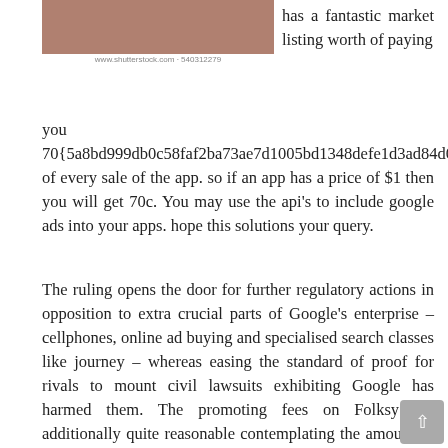[Figure (photo): Partial image of a brownish/reddish photo, cropped at top]
www.shutterstock.com · 540312279
has a fantastic market listing worth of paying you 70{5a8bd999db0c58faf2ba73ae7d1005bd1348defe1d3ad84d0657f3f344d189b7} of every sale of the app. so if an app has a price of $1 then you will get 70c. You may use the api's to include google ads into your apps. hope this solutions your query.
The ruling opens the door for further regulatory actions in opposition to extra crucial parts of Google's enterprise – cellphones, online ad buying and specialised search classes like journey – whereas easing the standard of proof for rivals to mount civil lawsuits exhibiting Google has harmed them. The promoting fees on Folksy are additionally quite reasonable contemplating the amount of features packed into the Folksy retailer fronts. Folksy will charge you £0.15 to list a product and